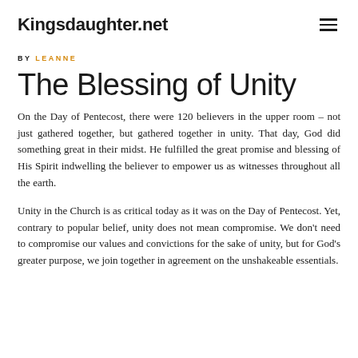Kingsdaughter.net
BY LEANNE
The Blessing of Unity
On the Day of Pentecost, there were 120 believers in the upper room – not just gathered together, but gathered together in unity. That day, God did something great in their midst. He fulfilled the great promise and blessing of His Spirit indwelling the believer to empower us as witnesses throughout all the earth.
Unity in the Church is as critical today as it was on the Day of Pentecost. Yet, contrary to popular belief, unity does not mean compromise. We don't need to compromise our values and convictions for the sake of unity, but for God's greater purpose, we join together in agreement on the unshakeable essentials.